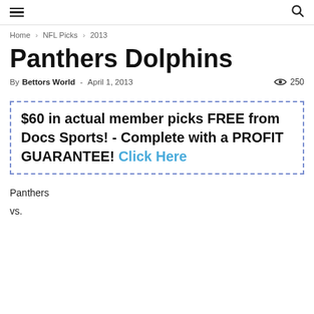≡  🔍
Home › NFL Picks › 2013
Panthers Dolphins
By Bettors World - April 1, 2013  👁 250
[Figure (other): Advertisement box with dashed border: '$60 in actual member picks FREE from Docs Sports! - Complete with a PROFIT GUARANTEE! Click Here']
Panthers
vs.